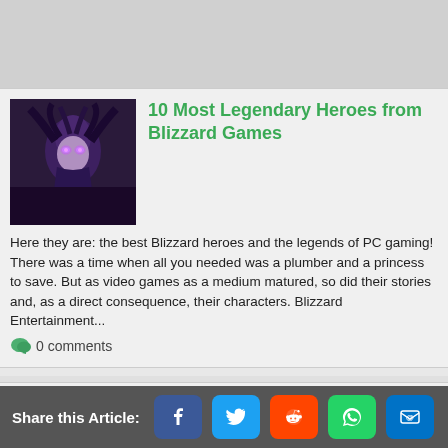[Figure (photo): Dark fantasy female character with purple glowing eyes and flowing dark hair — Blizzard Games hero artwork]
10 Most Legendary Heroes from Blizzard Games
Here they are: the best Blizzard heroes and the legends of PC gaming! There was a time when all you needed was a plumber and a princess to save. But as video games as a medium matured, so did their stories and, as a direct consequence, their characters. Blizzard Entertainment...
0 comments
[Figure (photo): Overwatch game screenshot showing a hero in a futuristic environment with a blue sky background]
[Top 5] Overwatch Best Crosshairs (Used By The Best Players In
[Top 5] Overwatch Best Crosshairs Used By The Best Players In The World)   So you want to use a pro gamer crosshair? Having the right crosshair for your hero is an essential part of mastering Overwatch. A
Share this Article: